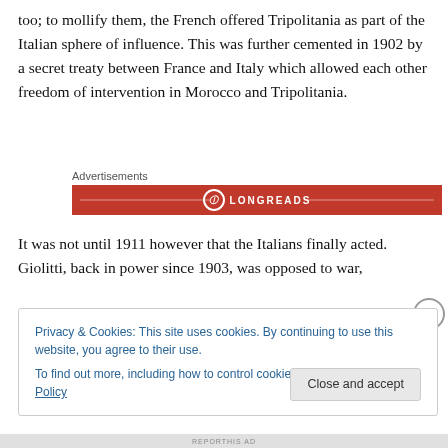too; to mollify them, the French offered Tripolitania as part of the Italian sphere of influence. This was further cemented in 1902 by a secret treaty between France and Italy which allowed each other freedom of intervention in Morocco and Tripolitania.
Advertisements
[Figure (logo): Longreads advertisement banner — red background with Longreads logo and name in white]
It was not until 1911 however that the Italians finally acted. Giolitti, back in power since 1903, was opposed to war,
Privacy & Cookies: This site uses cookies. By continuing to use this website, you agree to their use.
To find out more, including how to control cookies, see here: Cookie Policy
Close and accept